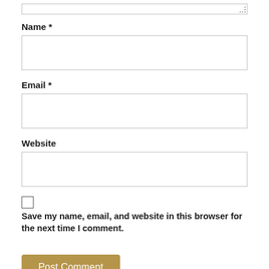Name *
[Figure (other): Empty text input box for Name field]
Email *
[Figure (other): Empty text input box for Email field]
Website
[Figure (other): Empty text input box for Website field]
Save my name, email, and website in this browser for the next time I comment.
Post Comment
MORE IN LATEST NEWS